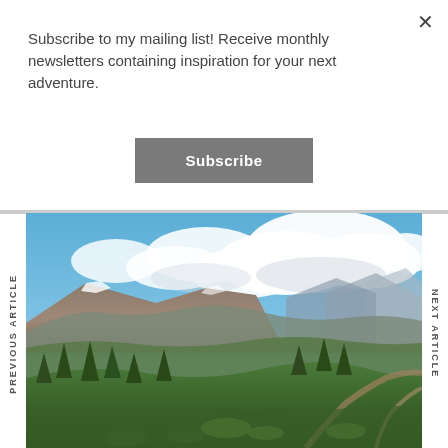×
Subscribe to my mailing list! Receive monthly newsletters containing inspiration for your next adventure.
Subscribe
PREVIOUS ARTICLE
[Figure (photo): Mountain landscape photograph showing rocky mountain peaks with coniferous trees in the foreground, a hiking trail visible, and a blue sky with large cumulus clouds above.]
NEXT ARTICLE